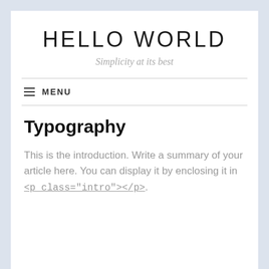HELLO WORLD
Simplicity at its best
☰ MENU
Typography
This is the introduction. Write a summary of your article here. You can display it by enclosing it in <p class="intro"></p>.